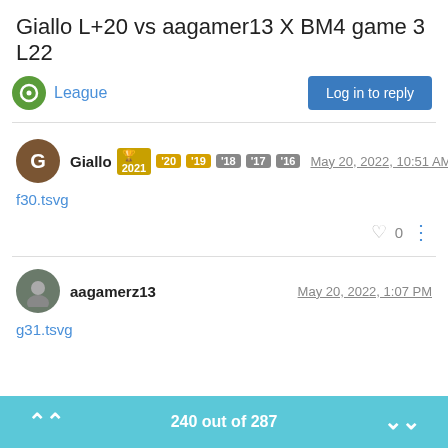Giallo L+20 vs aagamer13 X BM4 game 3 L22
League
Log in to reply
Giallo 🏆2021 '20 '19 '18 '17 '16   May 20, 2022, 10:51 AM
f30.tsvg
0
aagamerz13   May 20, 2022, 1:07 PM
g31.tsvg
240 out of 287